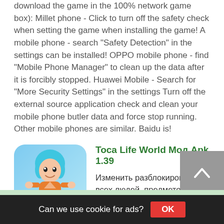download the game in the 100% network game box): Millet phone - Click to turn off the safety check when setting the game when installing the game! A mobile phone - search "Safety Detection" in the settings can be installed! OPPO mobile phone - find "Mobile Phone Manager" to clean up the data after it is forcibly stopped. Huawei Mobile - Search for "More Security Settings" in the settings Turn off the external source application check and clean your mobile phone butler data and force stop running. Other mobile phones are similar. Baidu is!
[Figure (illustration): Toca Life World app icon showing a cartoon girl character with blue hair]
Toca Life World Мод Apk 1.39
Изменить разблокировать всех людей, предметов, карт (включая все товары магазина)! [Примечание] Обновить подписанную подпись необходимо для удаления данных до проиграния подкрепления. 1. Эта игра должна быть передана напрямую или войти в игру непосредственно на
Can we use cookie for ads?